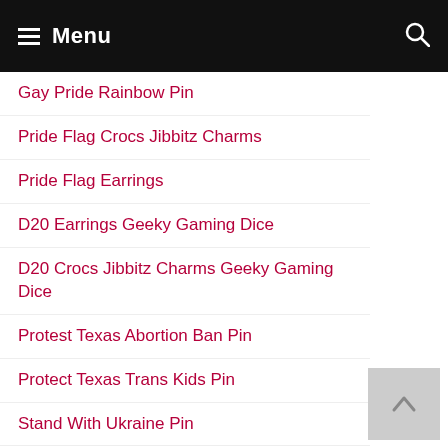Menu
Gay Pride Rainbow Pin
Pride Flag Crocs Jibbitz Charms
Pride Flag Earrings
D20 Earrings Geeky Gaming Dice
D20 Crocs Jibbitz Charms Geeky Gaming Dice
Protest Texas Abortion Ban Pin
Protect Texas Trans Kids Pin
Stand With Ukraine Pin
Black Lives Matter